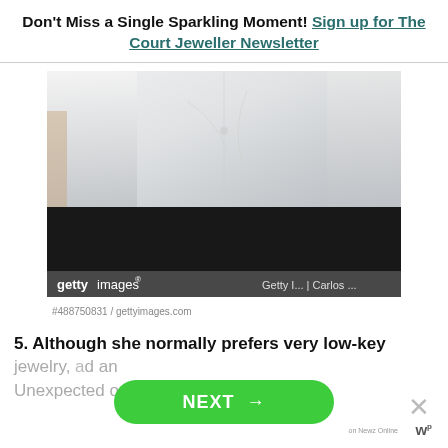Don't Miss a Single Sparkling Moment! Sign up for The Court Jeweller Newsletter
[Figure (photo): Close-up photo of a person wearing a white collared shirt/blouse, with a Getty Images watermark and credit bar at the bottom showing 'Getty I... | Carlos ...']
#488750831 / gettyimages.com
5. Although she normally prefers very low-key
jewelry, [obscured by NEXT button] d an Unexpected ornament to our [obscured] piece